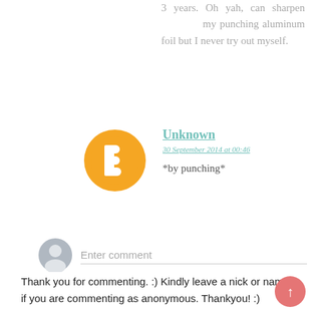3 years. Oh yah, can sharpen my punching aluminum foil but I never try out myself.
[Figure (illustration): Orange circular Blogger avatar icon with white 'B' letter in the center]
Unknown
30 September 2014 at 00:46
*by punching*
[Figure (illustration): Gray user silhouette avatar circle for comment input]
Enter comment
Thank you for commenting. :) Kindly leave a nick or name if you are commenting as anonymous. Thankyou! :)